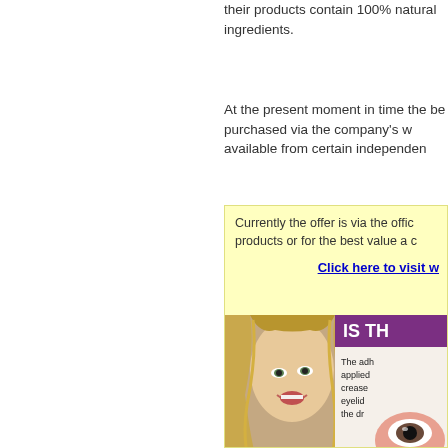their products contain 100% natural ingredients.
At the present moment in time the be purchased via the company's w available from certain independen
Currently the offer is via the offic products or for the best value a c
Click here to visit w
[Figure (photo): Magazine clipping showing a woman with blonde hair smiling, with text 'IS TH' in purple banner and partial text 'The adh applied crease eyelid the dr' on the right side with a close-up eye image]